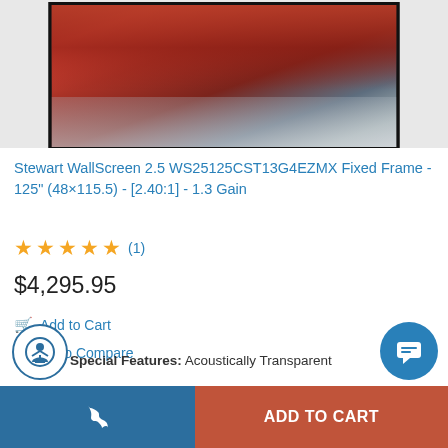[Figure (photo): Product image of a projection screen showing a red sports car (Alfa Romeo), displayed on a widescreen fixed frame projection screen with black border]
Stewart WallScreen 2.5 WS25125CST13G4EZMX Fixed Frame - 125" (48×115.5) - [2.40:1] - 1.3 Gain
★★★★★ (1)
$4,295.95
Add to Cart
Add to Compare
Special Features: Acoustically Transparent